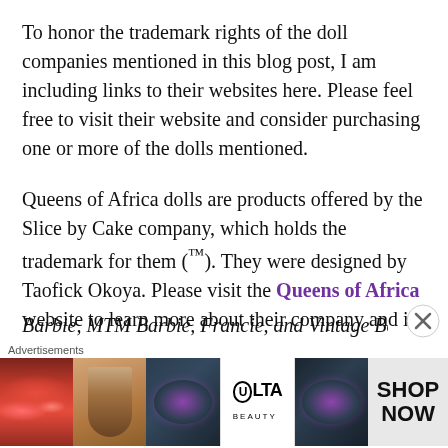To honor the trademark rights of the doll companies mentioned in this blog post, I am including links to their websites here. Please feel free to visit their website and consider purchasing one or more of the dolls mentioned.
Queens of Africa dolls are products offered by the Slice by Cake company, which holds the trademark for them (™). They were designed by Taofick Okoya. Please visit the Queens of Africa website to learn more about their company and its trademarked toys, books, and fashions.
Barbie, MTM Barbie, Francie, and Vintage Barbie,
Advertisements
[Figure (photo): Advertisement banner for ULTA Beauty showing close-up images of lips with lipstick, a makeup brush, a close-up eye with dramatic makeup, ULTA Beauty logo, another eye with dramatic makeup, and a SHOP NOW call to action button on grey background.]